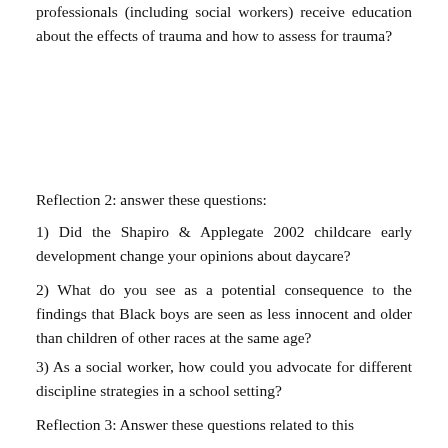professionals (including social workers) receive education about the effects of trauma and how to assess for trauma?
Reflection 2: answer these questions:
1) Did the Shapiro & Applegate 2002 childcare early development change your opinions about daycare?
2) What do you see as a potential consequence to the findings that Black boys are seen as less innocent and older than children of other races at the same age?
3) As a social worker, how could you advocate for different discipline strategies in a school setting?
Reflection 3: Answer these questions related to this